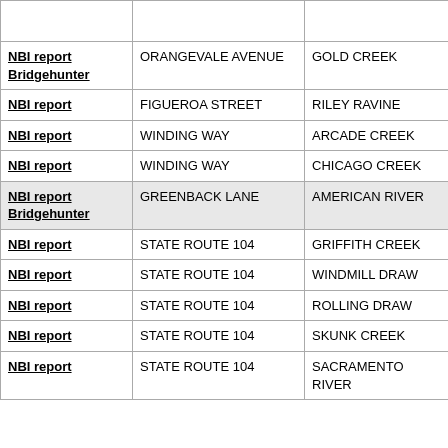|  | Road/Street | Feature |
| --- | --- | --- |
| NBI report
Bridgehunter | ORANGEVALE AVENUE | GOLD CREEK |
| NBI report | FIGUEROA STREET | RILEY RAVINE |
| NBI report | WINDING WAY | ARCADE CREEK |
| NBI report | WINDING WAY | CHICAGO CREEK |
| NBI report
Bridgehunter | GREENBACK LANE | AMERICAN RIVER |
| NBI report | STATE ROUTE 104 | GRIFFITH CREEK |
| NBI report | STATE ROUTE 104 | WINDMILL DRAW |
| NBI report | STATE ROUTE 104 | ROLLING DRAW |
| NBI report | STATE ROUTE 104 | SKUNK CREEK |
| NBI report | STATE ROUTE 104 | SACRAMENTO RIVER |